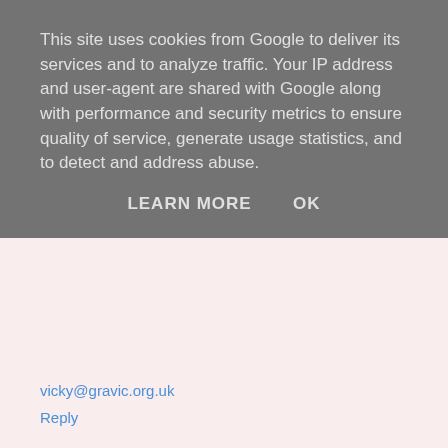This site uses cookies from Google to deliver its services and to analyze traffic. Your IP address and user-agent are shared with Google along with performance and security metrics to ensure quality of service, generate usage statistics, and to detect and address abuse.
LEARN MORE   OK
vicky@gravic.org.uk
Reply
SueBoydon  10 September 2016 at 09:56
Heather, your crochet & blog are inspiring to people like me who can do the basics but need inspiration & confidence to try new things. You obviously have been brought up by a wonderful Mum, who still makes wonderful blankets, & my daughter has followed in my footsteps as I hope her daughter will too. Skills such as yours have to continue down the generations as they are so valuable. May you continue inspiring others for a very, very long time :-)